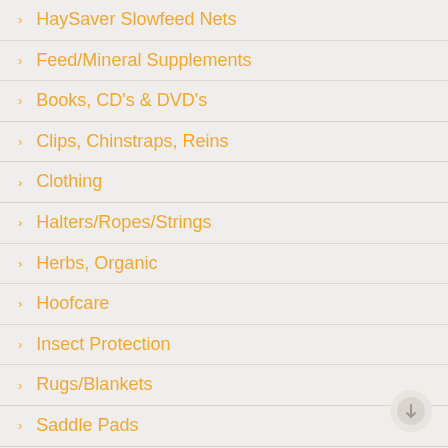HaySaver Slowfeed Nets
Feed/Mineral Supplements
Books, CD's & DVD's
Clips, Chinstraps, Reins
Clothing
Halters/Ropes/Strings
Herbs, Organic
Hoofcare
Insect Protection
Rugs/Blankets
Saddle Pads
Safety Stirrups